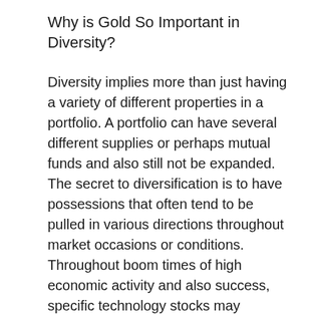Why is Gold So Important in Diversity?
Diversity implies more than just having a variety of different properties in a portfolio. A portfolio can have several different supplies or perhaps mutual funds and also still not be expanded. The secret to diversification is to have possessions that often tend to be pulled in various directions throughout market occasions or conditions. Throughout boom times of high economic activity and also success, specific technology stocks may escalate, while other extra mundane stocks may stagnate.
What makes gold so unique and so needed in a diversification technique is that it often tends to relocate the contrary instructions of